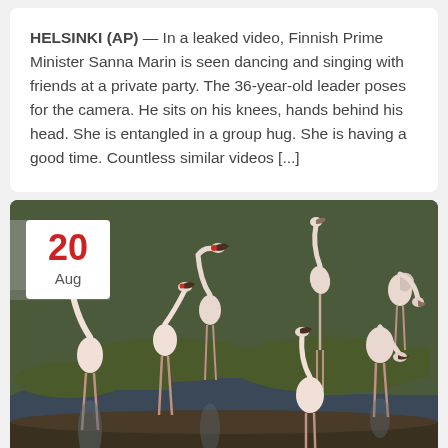HELSINKI (AP) — In a leaked video, Finnish Prime Minister Sanna Marin is seen dancing and singing with friends at a private party. The 36-year-old leader poses for the camera. He sits on his knees, hands behind his head. She is entangled in a group hug. She is having a good time. Countless similar videos [...]
[Figure (photo): Flamingos wading and feeding in a shallow wetland with grassy islands and water reflections. A date badge showing '20 Aug' in red and grey is overlaid in the top-left corner.]